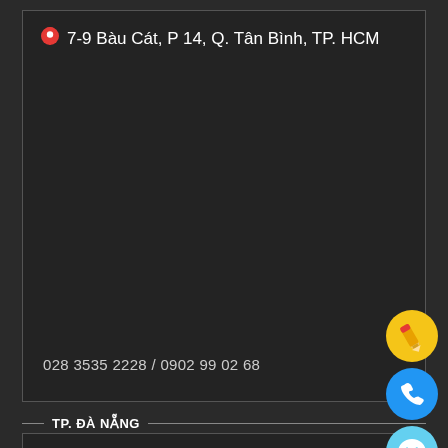7-9 Bàu Cát, P 14, Q. Tân Bình, TP. HCM
028 3535 2228 / 0902 99 02 68
TP. ĐÀ NẴNG
[Figure (illustration): Yellow pencil/edit icon button circle]
[Figure (illustration): Blue phone/call icon button circle]
[Figure (illustration): Light blue messenger chat icon button circle]